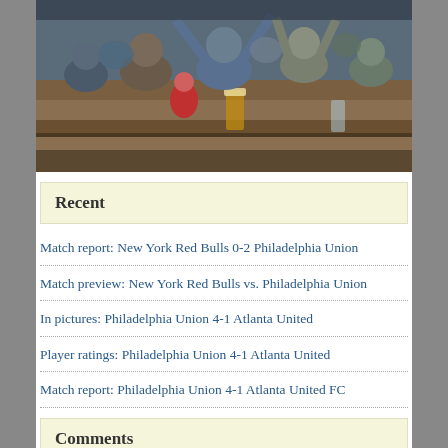[Figure (photo): Crowd of excited sports fans cheering at a bar, some with arms raised]
Recent
Match report: New York Red Bulls 0-2 Philadelphia Union
Match preview: New York Red Bulls vs. Philadelphia Union
In pictures: Philadelphia Union 4-1 Atlanta United
Player ratings: Philadelphia Union 4-1 Atlanta United
Match report: Philadelphia Union 4-1 Atlanta United FC
Comments